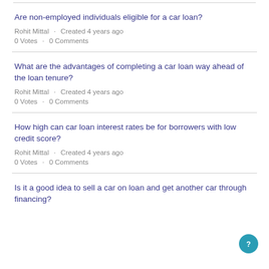Are non-employed individuals eligible for a car loan?
Rohit Mittal · Created 4 years ago
0 Votes · 0 Comments
What are the advantages of completing a car loan way ahead of the loan tenure?
Rohit Mittal · Created 4 years ago
0 Votes · 0 Comments
How high can car loan interest rates be for borrowers with low credit score?
Rohit Mittal · Created 4 years ago
0 Votes · 0 Comments
Is it a good idea to sell a car on loan and get another car through financing?